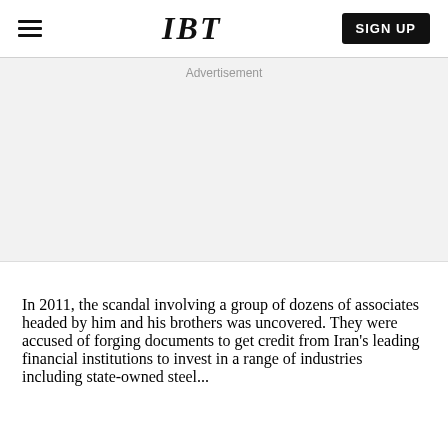IBT
[Figure (other): Advertisement placeholder area with light grey background]
In 2011, the scandal involving a group of dozens of associates headed by him and his brothers was uncovered. They were accused of forging documents to get credit from Iran's leading financial institutions to invest in a range of industries including state-owned steel...